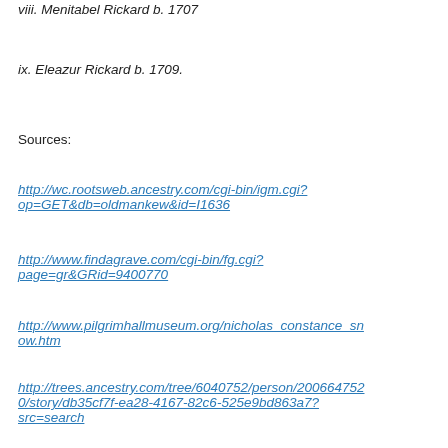viii. Menitabel Rickard b. 1707
ix. Eleazur Rickard b. 1709.
Sources:
http://wc.rootsweb.ancestry.com/cgi-bin/igm.cgi?op=GET&db=oldmankew&id=I1636
http://www.findagrave.com/cgi-bin/fg.cgi?page=gr&GRid=9400770
http://www.pilgrimhallmuseum.org/nicholas_constance_snow.htm
http://trees.ancestry.com/tree/60407520/person/2006647520/story/db35cf7f-ea28-4167-82c6-525e9bd863a7?src=search
http://...